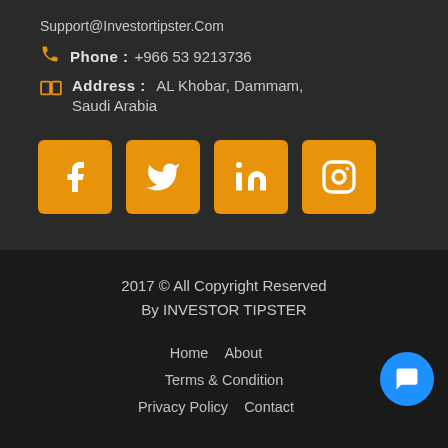Support@Investortipster.Com
Phone: +966 53 9213736
Address: AL Khobar, Dammam, Saudi Arabia
[Figure (infographic): Four orange square social media icon buttons: Facebook (f), Twitter (bird), LinkedIn (in), Instagram (camera)]
2017 © All Copyright Reserved By INVESTOR TIPSTER
Home   About
Terms & Condition
Privacy Policy   Contact